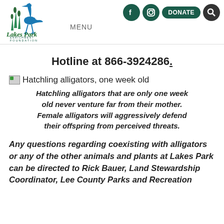Lakes Park Enrichment Foundation — MENU
Hotline at 866-3924286.
[Figure (photo): Broken image placeholder for hatchling alligators, one week old]
Hatchling alligators, one week old
Hatchling alligators that are only one week old never venture far from their mother. Female alligators will aggressively defend their offspring from perceived threats.
Any questions regarding coexisting with alligators or any of the other animals and plants at Lakes Park can be directed to Rick Bauer, Land Stewardship Coordinator, Lee County Parks and Recreation